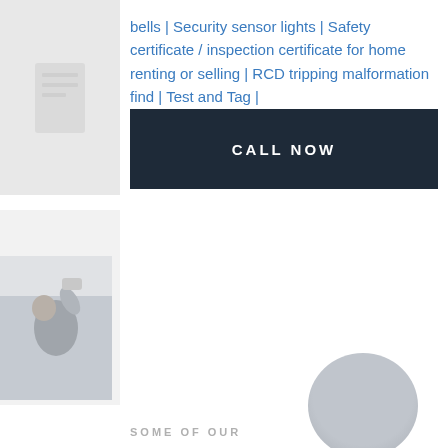bells | Security sensor lights | Safety certificate / inspection certificate for home renting or selling | RCD tripping malformation find | Test and Tag | And more
CALL NOW
[Figure (photo): Person installing or adjusting a smoke detector or light fixture on ceiling]
SOME OF OUR
[Figure (photo): Partial circular image in lower right, appears to be a person photo]